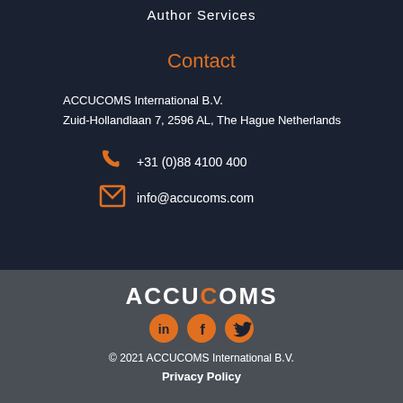Author Services
Contact
ACCUCOMS International B.V.
Zuid-Hollandlaan 7, 2596 AL, The Hague Netherlands
+31 (0)88 4100 400
info@accucoms.com
[Figure (logo): ACCUCOMS logo in white bold text with three orange social media icons (LinkedIn, Facebook, Twitter)]
© 2021 ACCUCOMS International B.V.
Privacy Policy